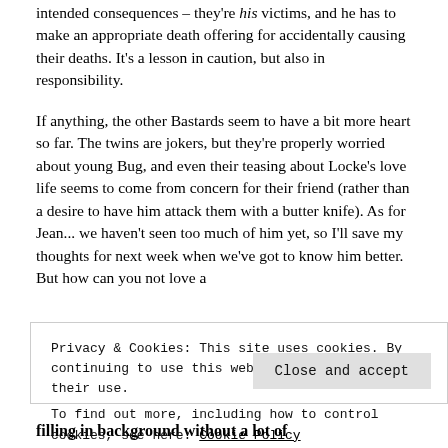unintended consequences – they're his victims, and he has to make an appropriate death offering for accidentally causing their deaths. It's a lesson in caution, but also in responsibility.
If anything, the other Bastards seem to have a bit more heart so far. The twins are jokers, but they're properly worried about young Bug, and even their teasing about Locke's love life seems to come from concern for their friend (rather than a desire to have him attack them with a butter knife). As for Jean... we haven't seen too much of him yet, so I'll save my thoughts for next week when we've got to know him better. But how can you not love a
Privacy & Cookies: This site uses cookies. By continuing to use this website, you agree to their use.
To find out more, including how to control cookies, see here: Cookie Policy
filling in background without a lot of